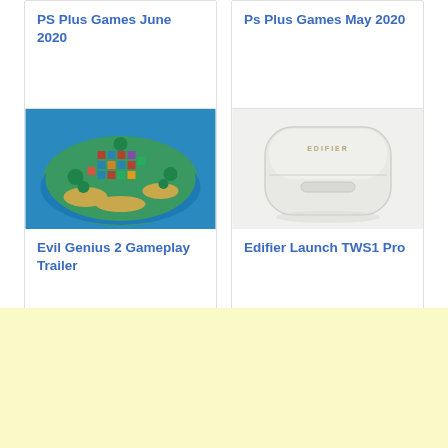PS Plus Games June 2020
Ps Plus Games May 2020
[Figure (photo): Aerial view of Evil Genius 2 game map showing an island with colorful buildings and structures]
Evil Genius 2 Gameplay Trailer
[Figure (photo): White Edifier TWS1 Pro earbuds charging case with EDIFIER branding on top]
Edifier Launch TWS1 Pro
[Figure (other): Yellow/cream colored advertisement banner area]